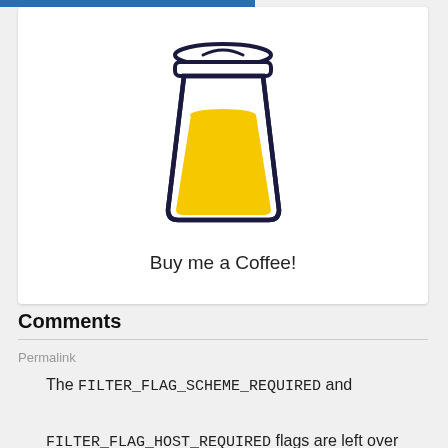[Figure (illustration): A hand-drawn style takeaway coffee cup with a yellow liquid fill and dark navy outline, with a lid on top.]
Buy me a Coffee!
Comments
Permalink
The FILTER_FLAG_SCHEME_REQUIRED and FILTER_FLAG_HOST_REQUIRED flags are left over from an earlier form of the code.